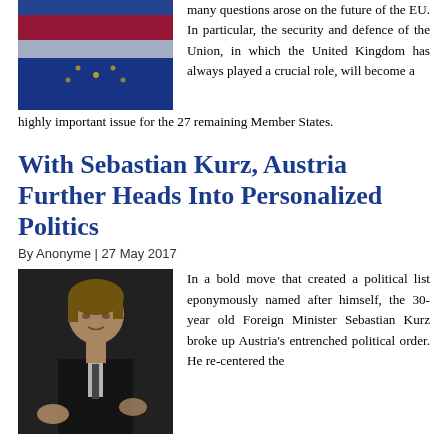[Figure (photo): EU flag with red, white and blue colors, partially visible]
many questions arose on the future of the EU. In particular, the security and defence of the Union, in which the United Kingdom has always played a crucial role, will become a highly important issue for the 27 remaining Member States.
With Sebastian Kurz, Austria Further Heads Into Personalized Politics
By Anonyme | 27 May 2017
[Figure (photo): Photo of Sebastian Kurz, a young man in a dark suit with light hair, gesturing with his hands]
In a bold move that created a political list eponymously named after himself, the 30-year old Foreign Minister Sebastian Kurz broke up Austria's entrenched political order. He re-centered the